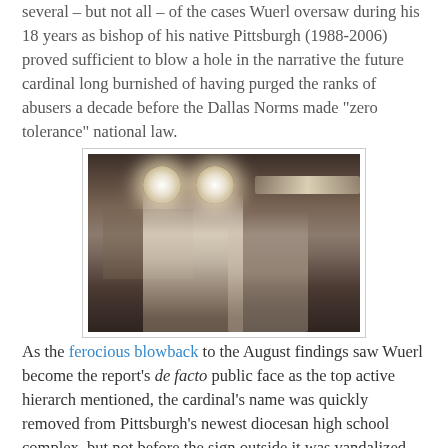several – but not all – of the cases Wuerl oversaw during his 18 years as bishop of his native Pittsburgh (1988-2006) proved sufficient to blow a hole in the narrative the future cardinal long burnished of having purged the ranks of abusers a decade before the Dallas Norms made "zero tolerance" national law.
[Figure (photo): Dark, moody photograph of a person in white religious vestments (cardinal) seated in profile, with two bright circular lights visible in the upper portion and a glowing horizontal bar of light in the background.]
As the ferocious blowback to the August findings saw Wuerl become the report's de facto public face as the top active hierarch mentioned, the cardinal's name was quickly removed from Pittsburgh's newest diocesan high school complex, but not before the sign outside it was vandalized.